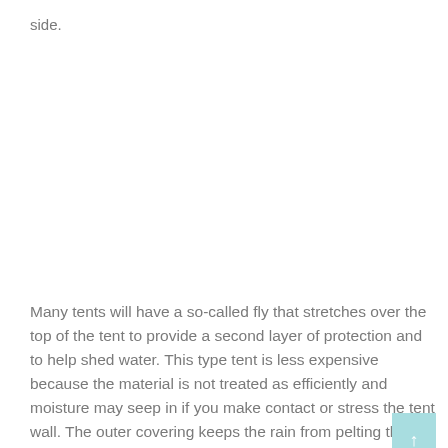side.
Many tents will have a so-called fly that stretches over the top of the tent to provide a second layer of protection and to help shed water. This type tent is less expensive because the material is not treated as efficiently and moisture may seep in if you make contact or stress the tent wall. The outer covering keeps the rain from pelting the top of the tent